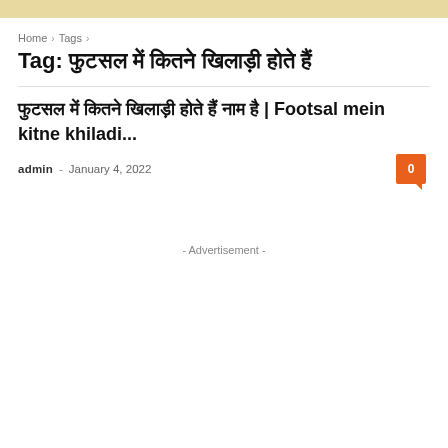Home › Tags ›
Tag: फुटसल में कितने खिलाड़ी होते हैं
फुटसल में कितने खिलाड़ी होते हैं | Footsal mein kitne khiladi...
admin - January 4, 2022
- Advertisement -